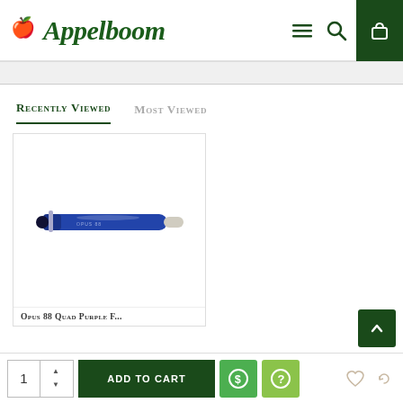Appelboom
Recently Viewed
Most Viewed
[Figure (photo): Product card showing a blue pen (Opus 88 Quad Purple F) on white background]
Opus 88 Quad Purple F